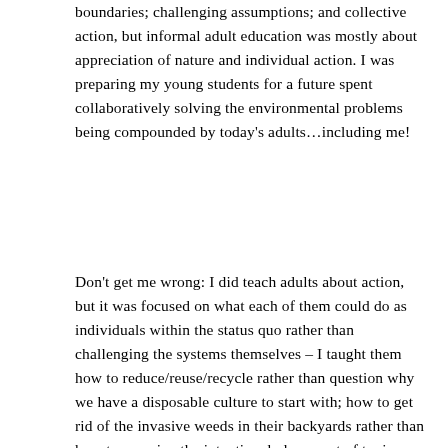boundaries; challenging assumptions; and collective action, but informal adult education was mostly about appreciation of nature and individual action. I was preparing my young students for a future spent collaboratively solving the environmental problems being compounded by today's adults…including me!
Don't get me wrong: I did teach adults about action, but it was focused on what each of them could do as individuals within the status quo rather than challenging the systems themselves – I taught them how to reduce/reuse/recycle rather than question why we have a disposable culture to start with; how to get rid of the invasive weeds in their backyards rather than how to examine the intentional placement of toxic superfund sites in vulnerable